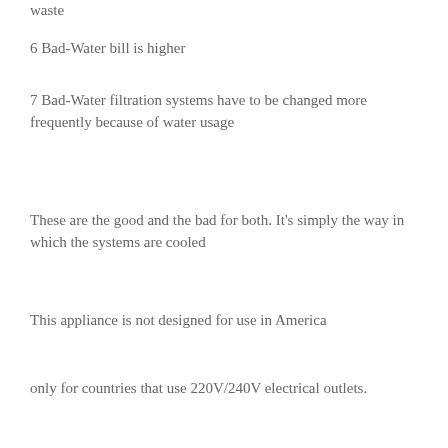waste
6 Bad-Water bill is higher
7 Bad-Water filtration systems have to be changed more frequently because of water usage
These are the good and the bad for both. It's simply the way in which the systems are cooled
This appliance is not designed for use in America
only for countries that use 220V/240V electrical outlets.